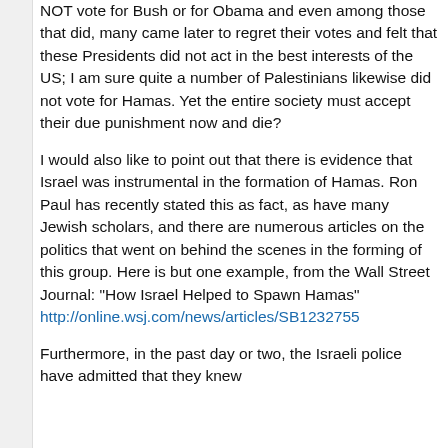NOT vote for Bush or for Obama and even among those that did, many came later to regret their votes and felt that these Presidents did not act in the best interests of the US; I am sure quite a number of Palestinians likewise did not vote for Hamas. Yet the entire society must accept their due punishment now and die?
I would also like to point out that there is evidence that Israel was instrumental in the formation of Hamas. Ron Paul has recently stated this as fact, as have many Jewish scholars, and there are numerous articles on the politics that went on behind the scenes in the forming of this group. Here is but one example, from the Wall Street Journal: "How Israel Helped to Spawn Hamas"
http://online.wsj.com/news/articles/SB1232755
Furthermore, in the past day or two, the Israeli police have admitted that they knew